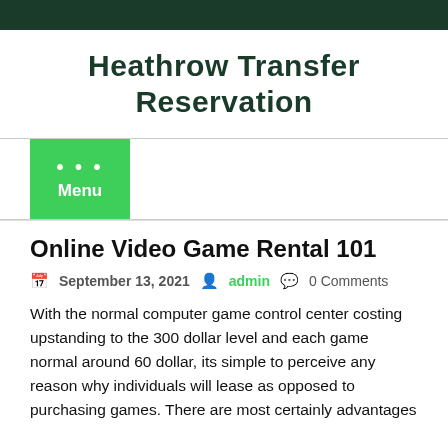Heathrow Transfer Reservation
Heathrow Transfer Reservation
Menu
Online Video Game Rental 101
September 13, 2021   admin   0 Comments
With the normal computer game control center costing upstanding to the 300 dollar level and each game normal around 60 dollar, its simple to perceive any reason why individuals will lease as opposed to purchasing games. There are most certainly advantages